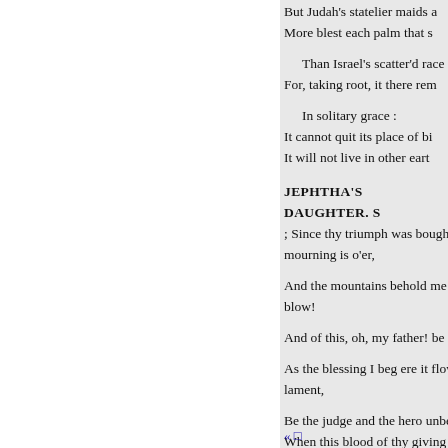But Judah's statelier maids a
More blest each palm that s

Than Israel's scatter'd race
For, taking root, it there rem

In solitary grace :
It cannot quit its place of bi
It will not live in other eart
JEPHTHA'S DAUGHTER. S
; Since thy triumph was bought b mourning is o'er,

And the mountains behold me no blow!

And of this, oh, my father! be su

As the blessing I beg ere it flow, lament,

Be the judge and the hero unbent When this blood of thy giving ha be thy pride, And forget not I sm
« □